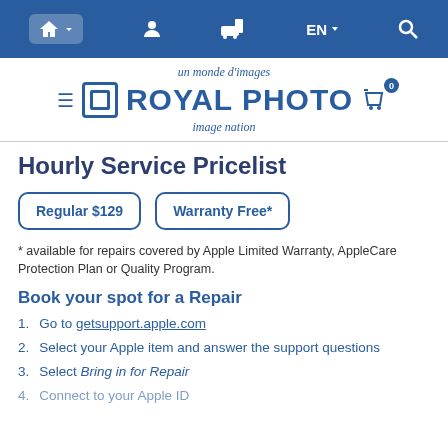Royal Photo navigation bar
[Figure (logo): Royal Photo logo with taglines 'un monde d'images' and 'image nation']
Hourly Service Pricelist
Regular $129 | Warranty Free*
* available for repairs covered by Apple Limited Warranty, AppleCare Protection Plan or Quality Program.
Book your spot for a Repair
1. Go to getsupport.apple.com
2. Select your Apple item and answer the support questions
3. Select Bring in for Repair
4. Connect to your Apple ID